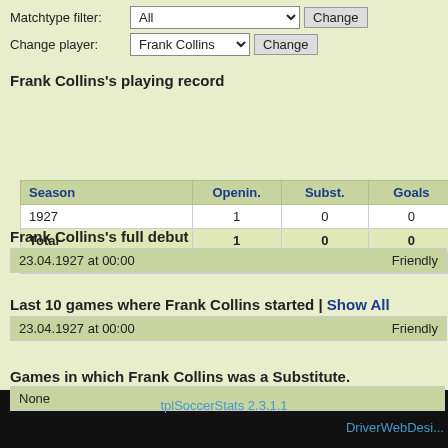Matchtype filter: All [Change]
Change player: Frank Collins [Change]
Frank Collins's playing record
| Season | Openin. | Subst. | Goals |
| --- | --- | --- | --- |
| 1927 | 1 | 0 | 0 |
| Total | 1 | 0 | 0 |
By season | In opening squad | Substituted in | Goals | Yello...
Frank Collins's full debut
| 23.04.1927 at 00:00 | Friendly |
Last 10 games where Frank Collins started | Show All
| 23.04.1927 at 00:00 | Friendly |
Games in which Frank Collins was a Substitute.
| None |  |
tplSoccerStats 2.3.1.1
DriverWebDesi...